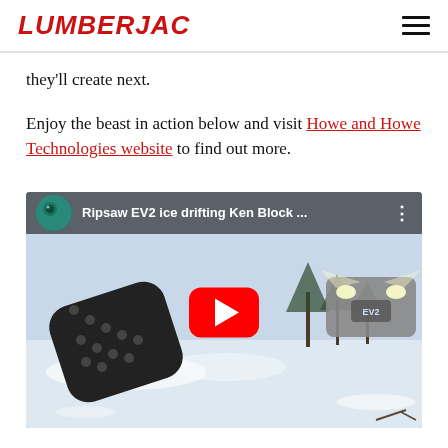LUMBERJAC
they'll create next.
Enjoy the beast in action below and visit Howe and Howe Technologies website to find out more.
[Figure (screenshot): YouTube video embed showing Ripsaw EV2 ice drifting Ken Block, with a red play button overlay on a snowy scene with tank tracks airborne]